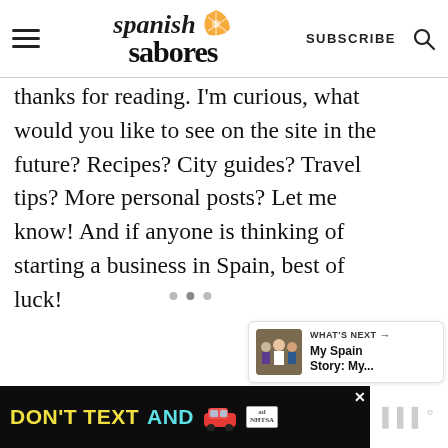Spanish Sabores — SUBSCRIBE
thanks for reading. I'm curious, what would you like to see on the site in the future? Recipes? City guides? Travel tips? More personal posts? Let me know! And if anyone is thinking of starting a business in Spain, best of luck!
[Figure (other): What's Next thumbnail showing a group photo]
WHAT'S NEXT → My Spain Story: My...
[Figure (other): Ad banner: DON'T TEXT AND [car emoji] — ad by NHTSA]